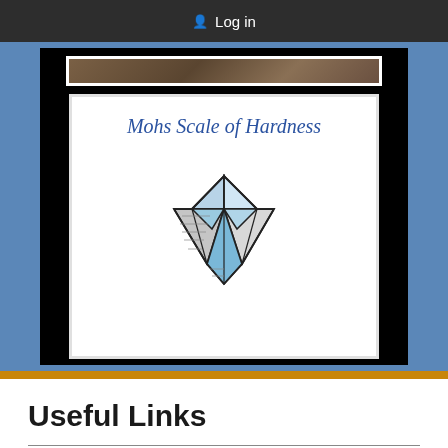Log in
[Figure (illustration): Mohs Scale of Hardness card showing an italic blue title and a diamond illustration with geometric facets in light blue and grey tones]
Useful Links
Wood Flooring Basics
Wood Hardness Chart